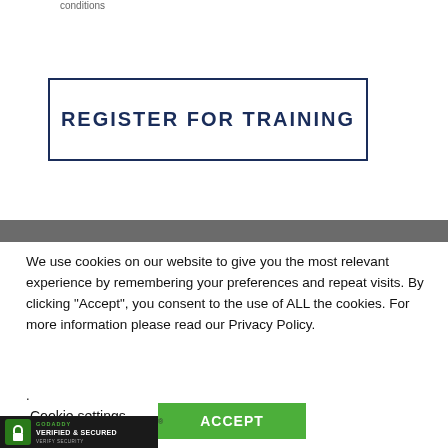conditions
REGISTER FOR TRAINING
We use cookies on our website to give you the most relevant experience by remembering your preferences and repeat visits. By clicking “Accept”, you consent to the use of ALL the cookies. For more information please read our Privacy Policy.
.
Cookie settings
ACCEPT
[Figure (logo): GoDaddy Verified & Secured badge with lock icon]